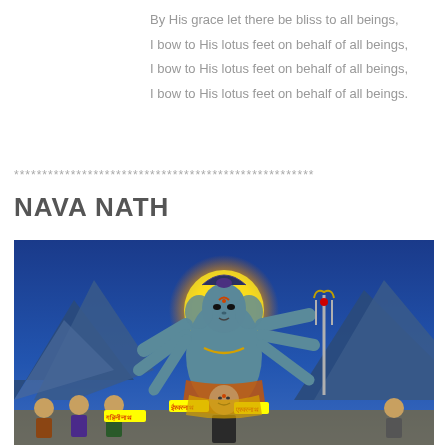By His grace let there be bliss to all beings,
I bow to His lotus feet on behalf of all beings,
I bow to His lotus feet on behalf of all beings,
I bow to His lotus feet on behalf of all beings.
*****************************************************
NAVA NATH
[Figure (illustration): Hindu religious painting showing a multi-armed deity (Shiva/Dattatreya) with blue skin, multiple faces and arms holding a trident, with a golden halo, surrounded by mountains and smaller figures at the bottom with Devanagari script labels.]